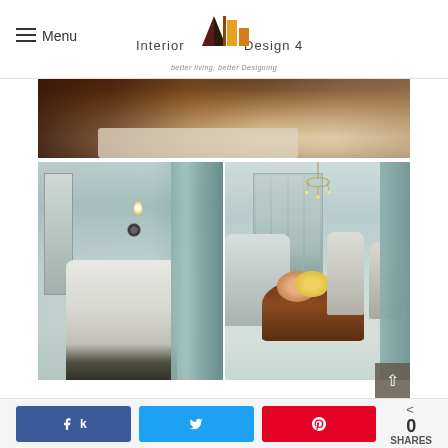[Figure (logo): Interior Design 4 logo with geometric 'M' shape in dark red, dark brown and orange/yellow colors. Tagline: 'better living, better Designing']
[Figure (photo): Top banner image showing a dark hardwood floor with a white shag rug and the base of dark furniture legs]
[Figure (photo): Left photo: Close-up of a room corner with patterned wallpaper, a white upholstered chair with nail-head trim, a wall sconce, a round decorative clock, and teal/sage silk drapes]
[Figure (photo): Right photo: Dining room with chandelier, patterned wallpaper, panel artwork, teal drapes, white upholstered chairs around a dark wood dining table with floral centerpiece]
0 SHARES